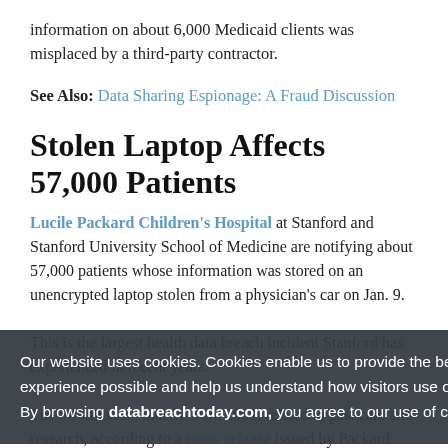information on about 6,000 Medicaid clients was misplaced by a third-party contractor.
See Also: Data Sharing Espionage: A Fraud Discussion
Stolen Laptop Affects 57,000 Patients
Lucile Packard Children's Hospital at Stanford and Stanford University School of Medicine are notifying about 57,000 patients whose information was stored on an unencrypted laptop stolen from a physician's car on Jan. 9.
This is the largest health data breach incident Stanford has experienced in recent years.
The information, mostly from 2009, related to past care and research, according to a news release issued by Packard Children's. The data included names,
Our website uses cookies. Cookies enable us to provide the best experience possible and help us understand how visitors use our website. By browsing databreachtoday.com, you agree to our use of cookies.